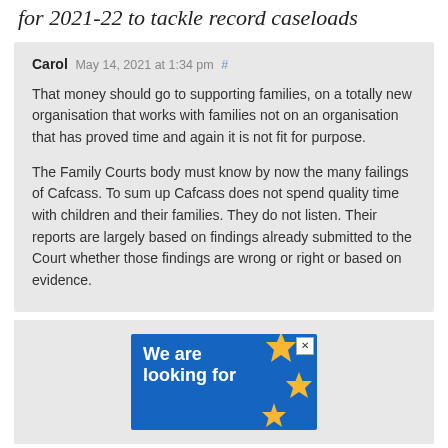for 2021-22 to tackle record caseloads
Carol May 14, 2021 at 1:34 pm #
That money should go to supporting families, on a totally new organisation that works with families not on an organisation that has proved time and again it is not fit for purpose.
The Family Courts body must know by now the many failings of Cafcass. To sum up Cafcass does not spend quality time with children and their families. They do not listen. Their reports are largely based on findings already submitted to the Court whether those findings are wrong or right or based on evidence.
[Figure (other): Advertisement banner with blue background reading 'We are looking for' with yellow star decorations and a close button]